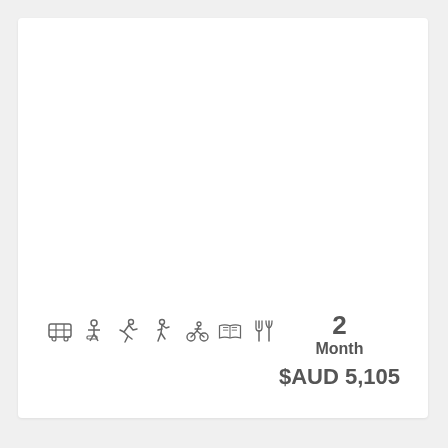[Figure (infographic): Row of activity/amenity icons: bus/tram, person at desk, running person, walking person, cycling/fitness person, open book/magazine, fork and knife (restaurant)]
2
Month
$AUD 5,105